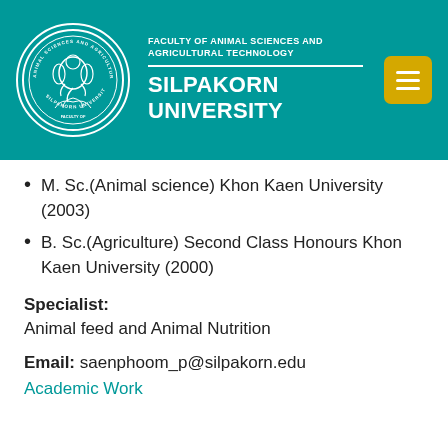[Figure (logo): Silpakorn University Faculty of Animal Sciences and Agricultural Technology circular seal/logo in white on teal background, with menu button]
FACULTY OF ANIMAL SCIENCES AND AGRICULTURAL TECHNOLOGY
SILPAKORN UNIVERSITY
M. Sc.(Animal science) Khon Kaen University (2003)
B. Sc.(Agriculture) Second Class Honours Khon Kaen University (2000)
Specialist: Animal feed and Animal Nutrition
Email: saenphoom_p@silpakorn.edu
Academic Work